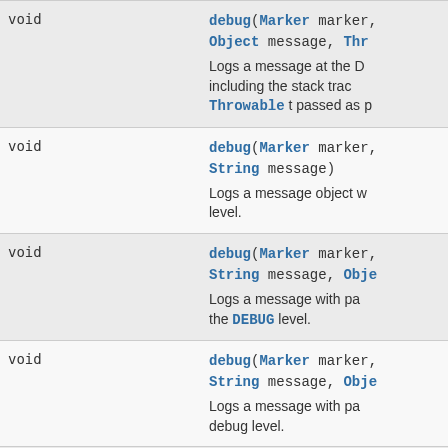| Type | Method and Description |
| --- | --- |
| void | debug(Marker marker, Object message, Throwable t)
Logs a message at the DEBUG level including the stack trace of the Throwable t passed as parameter. |
| void | debug(Marker marker, String message)
Logs a message object with the DEBUG level. |
| void | debug(Marker marker, String message, Object...)
Logs a message with parameters at the DEBUG level. |
| void | debug(Marker marker, String message, Object...)
Logs a message with parameters at the debug level. |
| void | debug(Marker marker, String message, Object p1)
Logs a message with parameters at the debug level. |